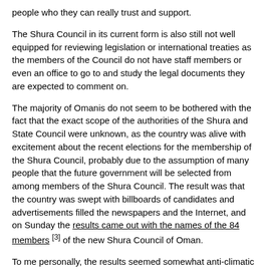people who they can really trust and support.
The Shura Council in its current form is also still not well equipped for reviewing legislation or international treaties as the members of the Council do not have staff members or even an office to go to and study the legal documents they are expected to comment on.
The majority of Omanis do not seem to be bothered with the fact that the exact scope of the authorities of the Shura and State Council were unknown, as the country was alive with excitement about the recent elections for the membership of the Shura Council, probably due to the assumption of many people that the future government will be selected from among members of the Shura Council. The result was that the country was swept with billboards of candidates and advertisements filled the newspapers and the Internet, and on Sunday the results came out with the names of the 84 members [3] of the new Shura Council of Oman.
To me personally, the results seemed somewhat anti-climatic as it seems that the majority of people who got elected were tribal leaders